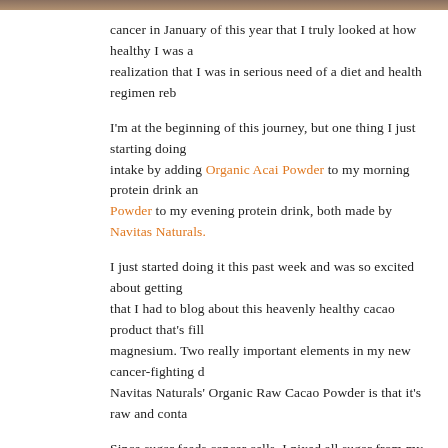[Figure (photo): Partial image at top of page, dark brown/tan colors visible at top edge]
cancer in January of this year that I truly looked at how healthy I was and came to a realization that I was in serious need of a diet and health regimen reboot.
I'm at the beginning of this journey, but one thing I just starting doing is boosting my intake by adding Organic Acai Powder to my morning protein drink and Organic Raw Cacao Powder to my evening protein drink, both made by Navitas Naturals.
I just started doing it this past week and was so excited about getting my hands on this that I had to blog about this heavenly healthy cacao product that's filled with antioxidants and magnesium. Two really important elements in my new cancer-fighting diet. What I love about Navitas Naturals' Organic Raw Cacao Powder is that it's raw and conta...
Since sugar feeds cancer cells, I nixed all sugar from my diet back in January. Problem is I was a big sweets eater. I loved eating chocolate brownies, cakes, muffins, ice cream (made with coconut or rice milk, not dairy), etc. I thought I was being "healthy" and I would buy what I call the "healthy junk food" from the cookie, cake and dessert aisle at Whole Foods (just because it's at Whole Foods and has organic ingredients doesn't mean it's healthy and good for you).
Also, if I was going to eat sweets then I would cut back on my caloric intake during the day...